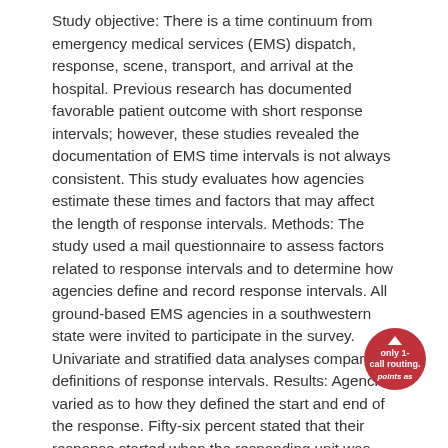Study objective: There is a time continuum from emergency medical services (EMS) dispatch, response, scene, transport, and arrival at the hospital. Previous research has documented favorable patient outcome with short response intervals; however, these studies revealed the documentation of EMS time intervals is not always consistent. This study evaluates how agencies estimate these times and factors that may affect the length of response intervals. Methods: The study used a mail questionnaire to assess factors related to response intervals and to determine how agencies define and record response intervals. All ground-based EMS agencies in a southwestern state were invited to participate in the survey. Univariate and stratified data analyses compared definitions of response intervals. Results: Agencies varied as to how they defined the start and end of the response. Fifty-six percent stated that their response started when the responding unit was notified of the call. However, almost 23% defined response interval as starting when dispatch received the call, and 11% defined it as starting with the initial 911 call. A factor that affected response intervals was routing of the 911 call. Less than 6% of agencies had only 1-call routing. Conclusion: Agencies use different time points as the start and end of their response interval, which makes comparison of results directly related to response intervals